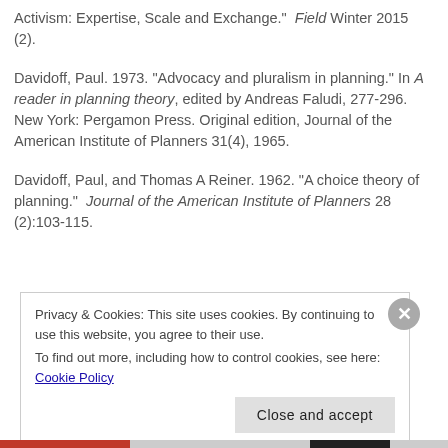Activism: Expertise, Scale and Exchange." Field Winter 2015 (2).
Davidoff, Paul. 1973. "Advocacy and pluralism in planning." In A reader in planning theory, edited by Andreas Faludi, 277-296. New York: Pergamon Press. Original edition, Journal of the American Institute of Planners 31(4), 1965.
Davidoff, Paul, and Thomas A Reiner. 1962. "A choice theory of planning." Journal of the American Institute of Planners 28 (2):103-115.
Privacy & Cookies: This site uses cookies. By continuing to use this website, you agree to their use.
To find out more, including how to control cookies, see here: Cookie Policy